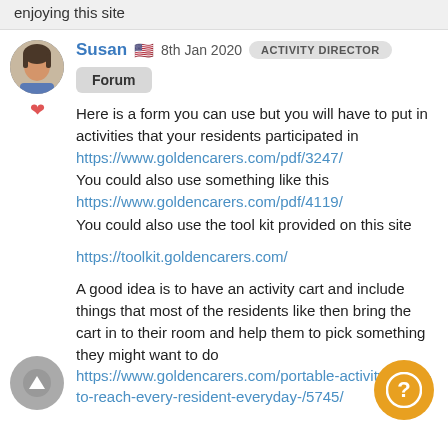enjoying this site
Susan 🇺🇸  8th Jan 2020   ACTIVITY DIRECTOR
Forum
Here is a form you can use but you will have to put in activities that your residents participated in
https://www.goldencarers.com/pdf/3247/
You could also use something like this
https://www.goldencarers.com/pdf/4119/
You could also use the tool kit provided on this site
https://toolkit.goldencarers.com/
A good idea is to have an activity cart and include things that most of the residents like then bring the cart in to their room and help them to pick something they might want to do
https://www.goldencarers.com/portable-activity-ideas-to-reach-every-resident-everyday-/5745/